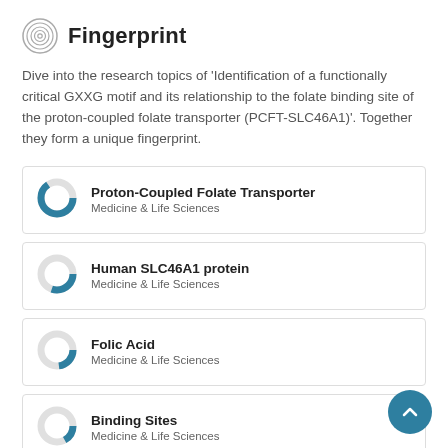Fingerprint
Dive into the research topics of 'Identification of a functionally critical GXXG motif and its relationship to the folate binding site of the proton-coupled folate transporter (PCFT-SLC46A1)'. Together they form a unique fingerprint.
Proton-Coupled Folate Transporter
Medicine & Life Sciences
Human SLC46A1 protein
Medicine & Life Sciences
Folic Acid
Medicine & Life Sciences
Binding Sites
Medicine & Life Sciences